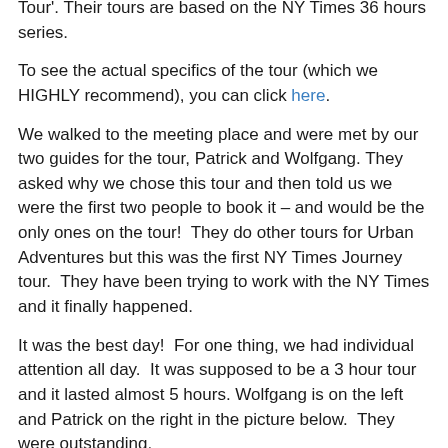Tour'. Their tours are based on the NY Times 36 hours series.
To see the actual specifics of the tour (which we HIGHLY recommend), you can click here.
We walked to the meeting place and were met by our two guides for the tour, Patrick and Wolfgang. They asked why we chose this tour and then told us we were the first two people to book it – and would be the only ones on the tour!  They do other tours for Urban Adventures but this was the first NY Times Journey tour.  They have been trying to work with the NY Times and it finally happened.
It was the best day!  For one thing, we had individual attention all day.  It was supposed to be a 3 hour tour and it lasted almost 5 hours. Wolfgang is on the left and Patrick on the right in the picture below.  They were outstanding.